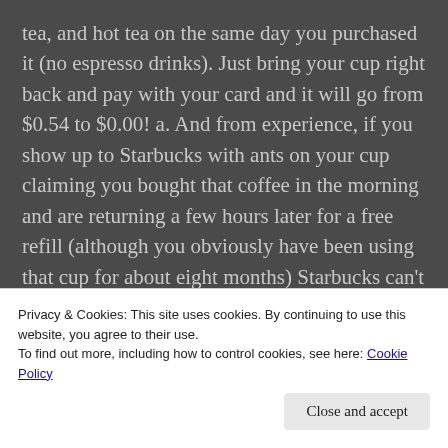tea, and hot tea on the same day you purchased it (no espresso drinks). Just bring your cup right back and pay with your card and it will go from $0.54 to $0.00! a. And from experience, if you show up to Starbucks with ants on your cup claiming you bought that coffee in the morning and are returning a few hours later for a free refill (although you obviously have been using that cup for about eight months) Starbucks can't deny you! 4. Starbucks is a great company to work for. Besides the awesome health benefits, each partner can mark out a pound of coffee, a box of tea, a box of K-cups,
Privacy & Cookies: This site uses cookies. By continuing to use this website, you agree to their use.
To find out more, including how to control cookies, see here: Cookie Policy